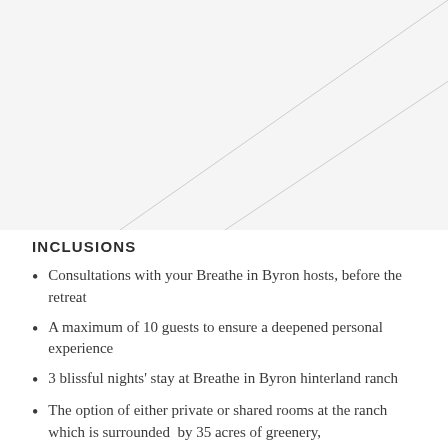[Figure (photo): Placeholder image area with diagonal lines indicating an image, white background with light gray crossing lines.]
INCLUSIONS
Consultations with your Breathe in Byron hosts, before the retreat
A maximum of 10 guests to ensure a deepened personal experience
3 blissful nights' stay at Breathe in Byron hinterland ranch
The option of either private or shared rooms at the ranch which is surrounded  by 35 acres of greenery,